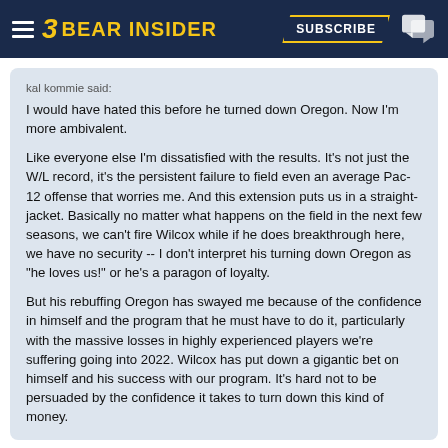Bear Insider — Subscribe
kal kommie said:
I would have hated this before he turned down Oregon. Now I'm more ambivalent.

Like everyone else I'm dissatisfied with the results. It's not just the W/L record, it's the persistent failure to field even an average Pac-12 offense that worries me. And this extension puts us in a straight-jacket. Basically no matter what happens on the field in the next few seasons, we can't fire Wilcox while if he does breakthrough here, we have no security -- I don't interpret his turning down Oregon as "he loves us!" or he's a paragon of loyalty.

But his rebuffing Oregon has swayed me because of the confidence in himself and the program that he must have to do it, particularly with the massive losses in highly experienced players we're suffering going into 2022. Wilcox has put down a gigantic bet on himself and his success with our program. It's hard not to be persuaded by the confidence it takes to turn down this kind of money.

Still, like Big C said...this had better work.